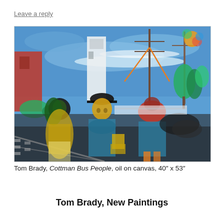Leave a reply
[Figure (illustration): Oil painting by Tom Brady titled 'Cottman Bus People'. Expressionist style painting showing several figures at what appears to be a bus stop. Vivid colors including blues, greens, reds, yellows, and blacks. Sky is bright blue with white streaks. Utility poles visible in background. Figures rendered in thick impasto strokes.]
Tom Brady, Cottman Bus People, oil on canvas, 40″ x 53″
Tom Brady, New Paintings